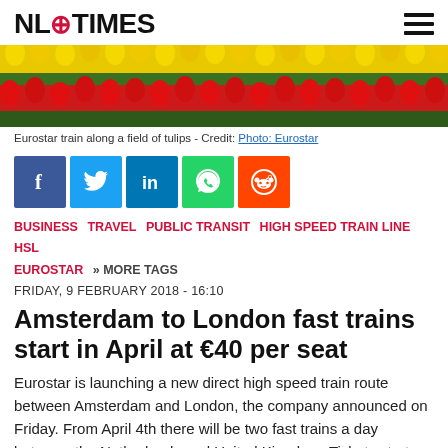NL# TIMES
[Figure (photo): Field of tulips — rows of red and yellow tulips, colorful flower field]
Eurostar train along a field of tulips - Credit: Photo: Eurostar
[Figure (infographic): Social share buttons: Facebook, Twitter, LinkedIn, WhatsApp, Reddit]
BUSINESS   TRAVEL   PUBLIC TRANSIT   HIGH SPEED TRAIN LINE   HSL   EUROSTAR   » MORE TAGS
FRIDAY, 9 FEBRUARY 2018 - 16:10
Amsterdam to London fast trains start in April at €40 per seat
Eurostar is launching a new direct high speed train route between Amsterdam and London, the company announced on Friday. From April 4th there will be two fast trains a day between the Netherlands and United Kingdom. Tickets start from 40 euros per seat, one